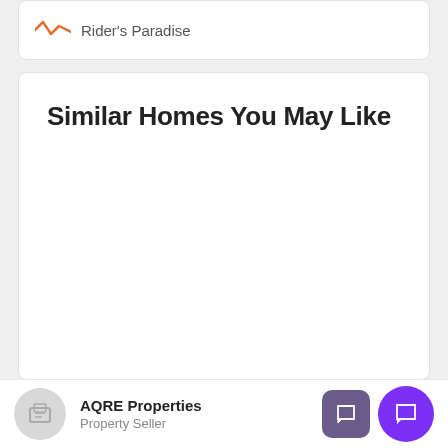[Figure (illustration): Rider's Paradise icon with orange line icon and text label on a white card]
Similar Homes You May Like
AQRE Properties
Property Seller